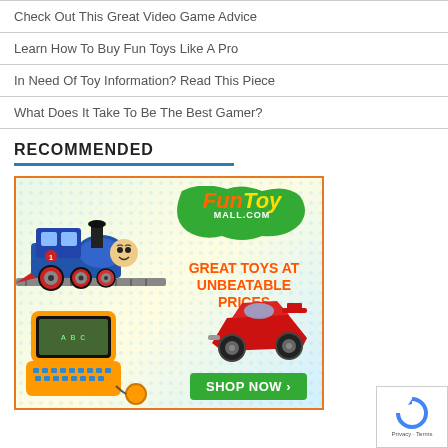Check Out This Great Video Game Advice
Learn How To Buy Fun Toys Like A Pro
In Need Of Toy Information? Read This Piece
What Does It Take To Be The Best Gamer?
RECOMMENDED
[Figure (photo): FunToyMall.com advertisement banner featuring Thomas the Tank Engine toy train, a VTech learning laptop, an RC buggy car, the FunToyMall.com logo with green splat, tagline 'GREAT TOYS AT UNBEATABLE PRICES', and a green SHOP NOW button]